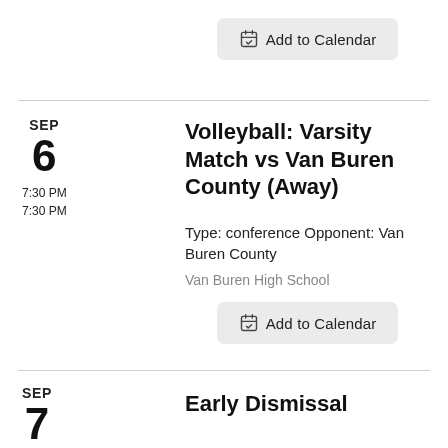[Figure (other): Add to Calendar button at top of page]
SEP 6
7:30 PM
7:30 PM
Volleyball: Varsity Match vs Van Buren County (Away)
Type: conference Opponent: Van Buren County
Van Buren High School
[Figure (other): Add to Calendar button for SEP 6 event]
SEP 7
Early Dismissal